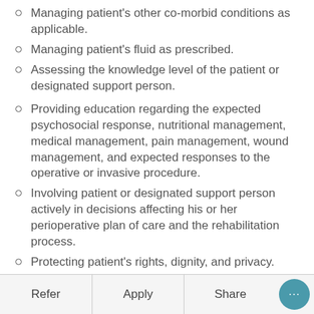Managing patient's other co-morbid conditions as applicable.
Managing patient's fluid as prescribed.
Assessing the knowledge level of the patient or designated support person.
Providing education regarding the expected psychosocial response, nutritional management, medical management, pain management, wound management, and expected responses to the operative or invasive procedure.
Involving patient or designated support person actively in decisions affecting his or her perioperative plan of care and the rehabilitation process.
Protecting patient's rights, dignity, and privacy.
Providing age-specific, culturally competent, ethical care within legal standards of practice;
Refer   Apply   Share